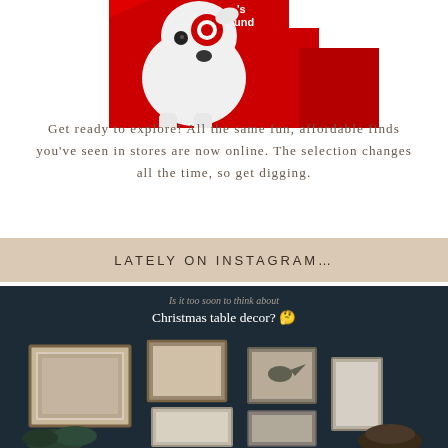[Figure (photo): Target bullseye dog mascot (white bull terrier with red bullseye on eye) emerging from red Target shopping boxes, with partial red text visible on box]
Get ready to explore! All the same fun, affordable finds you've seen in stores are now online. The selection changes all the time, so get digging.
LATELY ON INSTAGRAM…
[Figure (screenshot): Instagram post screenshot with dark background showing text 'Is it too soon to think about Christmas table decor? 🤔' and a gallery wall with framed art photos in various sizes arranged on a dark wall, with some greenery visible]